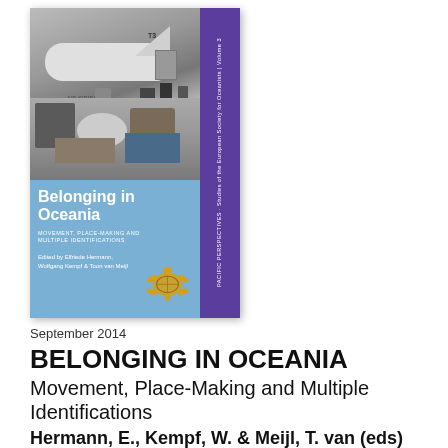[Figure (illustration): Book cover of 'Belonging in Oceania: Movement, Place-Making and Multiple Identifications'. Cover shows a black and white photo of an Air Kiribati plane with people and cargo on the ground. Bottom portion has a blue background with white title text, subtitle, and editors' names. A yellow turtle illustration is on the right. Purple spine on the right side reads 'Pacific Perspectives - Studies of the European Society for Oceanists | Volume 3'.]
September 2014
BELONGING IN OCEANIA
Movement, Place-Making and Multiple Identifications
Hermann, E., Kempf, W. & Meijl, T. van (eds)
Ethnographic studies on identity construction